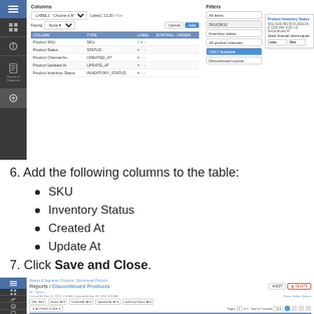[Figure (screenshot): Screenshot of a report column/filter configuration interface showing Columns panel with Product SKU, Product Status, Product Channel Au, Product Updated At, Product Inventory Status rows, and a Filters panel on the right with filter options and a Product Inventory Status detail box.]
6. Add the following columns to the table:
SKU
Inventory Status
Created At
Update At
7. Click Save and Close.
[Figure (screenshot): Screenshot of Reports / Discontinued Products report page showing a table with columns SKU, Status, Created At, Updated At, Inventory Status. Multiple product rows are shown with dates in Nov 2016 and Discontinued inventory status.]